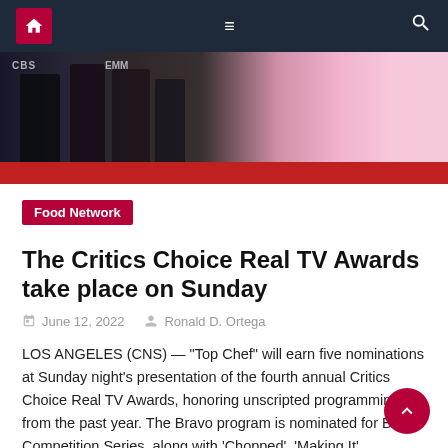Navigation bar with home, menu, and search icons
[Figure (photo): Red carpet event photo showing people's legs and lower bodies in formal attire on a red carpet, with CBS and EMM text visible in the background]
Food Network
The Critics Choice Real TV Awards take place on Sunday
June 12, 2022   Ronald D. Ortega
LOS ANGELES (CNS) — "Top Chef" will earn five nominations at Sunday night's presentation of the fourth annual Critics Choice Real TV Awards, honoring unscripted programming from the past year. The Bravo program is nominated for Best Competition Series, along with 'Chopped', 'Making It', 'RuPaul's Drag Race', 'The Amazing Race' and 'The Great British Baking [...]